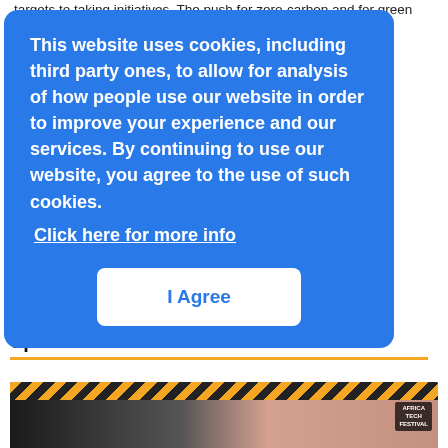targets to taking initiatives. The push for zero-carbon and for green ...gy. ...o make ...ut ...and no ...n the ...try ...st ...n
[Figure (other): Cookie consent popup overlay with blue background. Text reads: 'This website uses cookies, including third party ones, to allow for analysis of how people use our website in order to improve your experience and our services. By continuing to use our website, you agree to the use of such cookies.' Link: 'Click here for more info'. Button: 'I Agree'.]
More Webinars
Sponsored video
[Figure (screenshot): Video thumbnail for a sponsored video. Shows a decorative zig-zag patterned strip at top, with Africa Tech Festival logo in top right corner, and a partially visible person in the frame.]